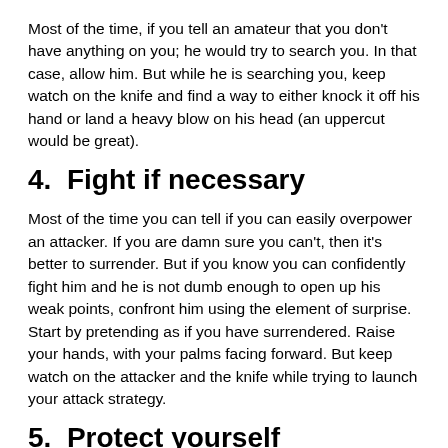Most of the time, if you tell an amateur that you don't have anything on you; he would try to search you. In that case, allow him. But while he is searching you, keep watch on the knife and find a way to either knock it off his hand or land a heavy blow on his head (an uppercut would be great).
4.  Fight if necessary
Most of the time you can tell if you can easily overpower an attacker. If you are damn sure you can't, then it's better to surrender. But if you know you can confidently fight him and he is not dumb enough to open up his weak points, confront him using the element of surprise. Start by pretending as if you have surrendered. Raise your hands, with your palms facing forward. But keep watch on the attacker and the knife while trying to launch your attack strategy.
5.  Protect yourself throughout
The essence of this post if to help you leave a knife attack scenario unhurt and unrobbed. Keeping your eyes fixed on the